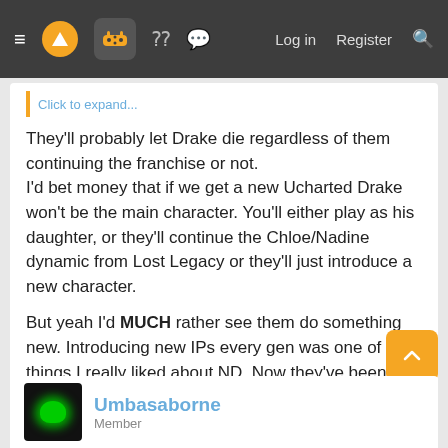≡ [logo] [controller icon] [grid icon] [chat icon]   Log in   Register   [search]
Click to expand...
They'll probably let Drake die regardless of them continuing the franchise or not.
I'd bet money that if we get a new Ucharted Drake won't be the main character. You'll either play as his daughter, or they'll continue the Chloe/Nadine dynamic from Lost Legacy or they'll just introduce a new character.

But yeah I'd MUCH rather see them do something new. Introducing new IPs every gen was one of the things I really liked about ND. Now they've been stuck making sequels for a whole gen.
👍 James SawyerFord
Umbasaborne
Member